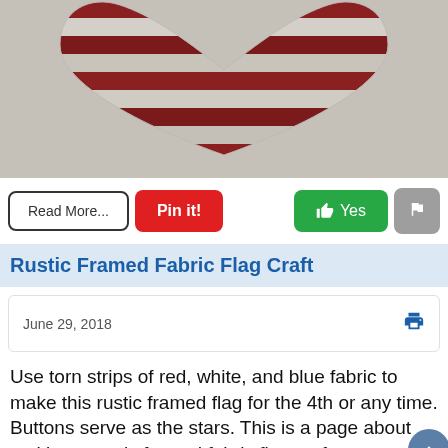[Figure (photo): A heart-shaped American flag craft made from fabric strips, hanging on a wall. The heart shows red and white stripes visible at the top.]
Read More... | Pin it! | Yes | [flag icon]
Rustic Framed Fabric Flag Craft
June 29, 2018
Use torn strips of red, white, and blue fabric to make this rustic framed flag for the 4th or any time. Buttons serve as the stars. This is a page about making a rustic framed fabric flag craft.